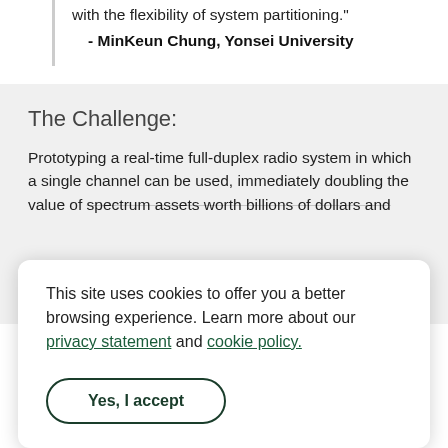with the flexibility of system partitioning."
- MinKeun Chung, Yonsei University
The Challenge:
Prototyping a real-time full-duplex radio system in which a single channel can be used, immediately doubling the value of spectrum assets worth billions of dollars and
This site uses cookies to offer you a better browsing experience. Learn more about our privacy statement and cookie policy.
Yes, I accept